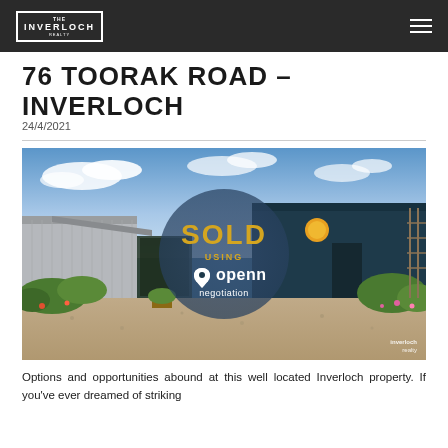INVERLOCH
76 TOORAK ROAD – INVERLOCH
24/4/2021
[Figure (photo): Exterior photo of a property at 76 Toorak Road, Inverloch. Shows a house with grey corrugated metal walls, blue shed, gravel driveway, and gardens. A large circular overlay reads 'SOLD USING openn negotiation'.]
Options and opportunities abound at this well located Inverloch property. If you've ever dreamed of striking